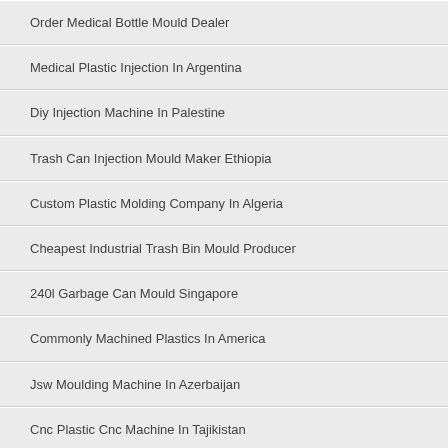Order Medical Bottle Mould Dealer
Medical Plastic Injection In Argentina
Diy Injection Machine In Palestine
Trash Can Injection Mould Maker Ethiopia
Custom Plastic Molding Company In Algeria
Cheapest Industrial Trash Bin Mould Producer
240l Garbage Can Mould Singapore
Commonly Machined Plastics In America
Jsw Moulding Machine In Azerbaijan
Cnc Plastic Cnc Machine In Tajikistan